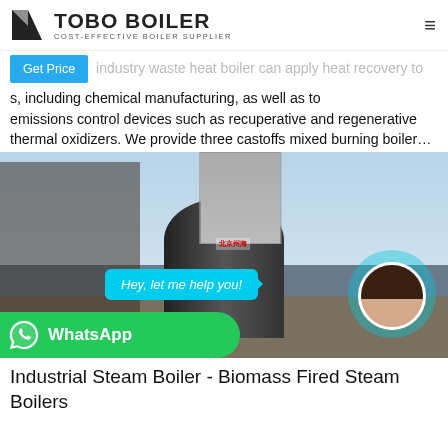TOBO BOILER — COST-EFFECTIVE BOILER SUPPLIER
industry waste heat boiler can apply heat recovery to s, including chemical manufacturing, as well as to emissions control devices such as recuperative and regenerative thermal oxidizers. We provide three castoffs mixed burning boiler…
[Figure (photo): Industrial steam boiler installation at an outdoor facility, showing large cylindrical boiler units with piping and scaffolding. A chat bubble reads 'Hey, let me help you!' with a customer service avatar and WhatsApp button overlay.]
Industrial Steam Boiler - Biomass Fired Steam Boilers